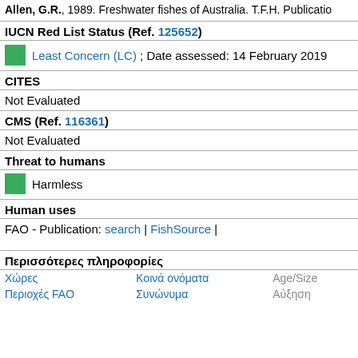Allen, G.R., 1989. Freshwater fishes of Australia. T.F.H. Publicatio
IUCN Red List Status (Ref. 125652)
Least Concern (LC) ; Date assessed: 14 February 2019
CITES
Not Evaluated
CMS (Ref. 116361)
Not Evaluated
Threat to humans
Harmless
Human uses
FAO - Publication: search | FishSource |
Περισσότερες πληροφορίες
| Χώρες | Κοινά ονόματα | Age/Size |
| --- | --- | --- |
| Περιοχές FAO | Συνώνυμα | Αύξηση |